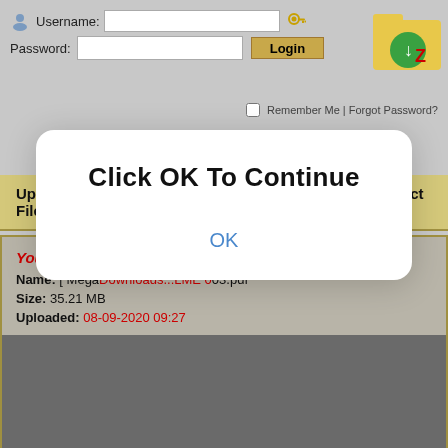[Figure (screenshot): Website login form with username and password fields, Login button, Remember Me checkbox, Forgot Password link, and a folder download logo in the top right corner.]
Upload Files | F.A.Q | Upload Tools | Our Blog | Contact Us
You have requested the file:
Name: [ MegaDownloads...LME 003.pdf
Size: 35.21 MB
Uploaded: 08-09-2020 09:27
[Figure (screenshot): Modal dialog box with white rounded background, title 'Click OK To Continue', and blue 'OK' link text centered below.]